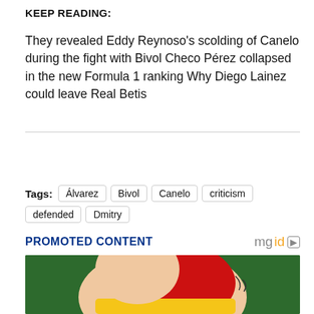KEEP READING:
They revealed Eddy Reynoso's scolding of Canelo during the fight with Bivol Checo Pérez collapsed in the new Formula 1 ranking Why Diego Lainez could leave Real Betis
Source
Tags: Álvarez  Bivol  Canelo  criticism  defended  Dmitry
PROMOTED CONTENT
[Figure (illustration): Cartoon illustration of a round figure in red and yellow clothing on a green background]